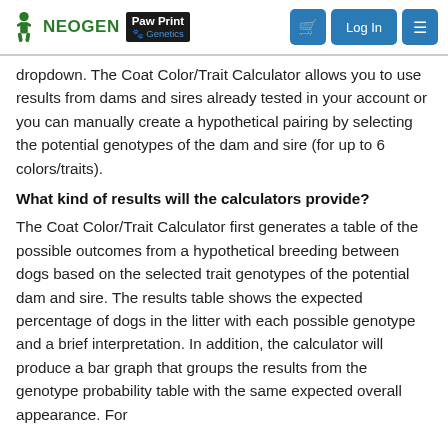NEOGEN Paw Print Genetics | Log In | navigation menu
dropdown. The Coat Color/Trait Calculator allows you to use results from dams and sires already tested in your account or you can manually create a hypothetical pairing by selecting the potential genotypes of the dam and sire (for up to 6 colors/traits).
What kind of results will the calculators provide?
The Coat Color/Trait Calculator first generates a table of the possible outcomes from a hypothetical breeding between dogs based on the selected trait genotypes of the potential dam and sire. The results table shows the expected percentage of dogs in the litter with each possible genotype and a brief interpretation. In addition, the calculator will produce a bar graph that groups the results from the genotype probability table with the same expected overall appearance. For